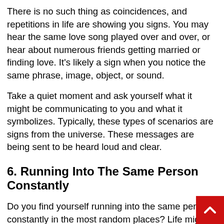There is no such thing as coincidences, and repetitions in life are showing you signs. You may hear the same love song played over and over, or hear about numerous friends getting married or finding love. It's likely a sign when you notice the same phrase, image, object, or sound.

Take a quiet moment and ask yourself what it might be communicating to you and what it symbolizes. Typically, these types of scenarios are signs from the universe. These messages are being sent to be heard loud and clear.
6. Running Into The Same Person Constantly
Do you find yourself running into the same person constantly in the most random places? Life might be pushing you towards this person for a reason. Go...